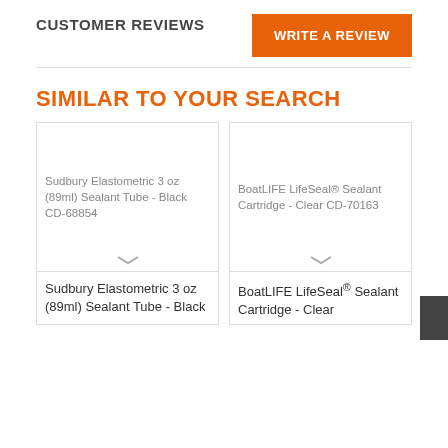CUSTOMER REVIEWS
WRITE A REVIEW
SIMILAR TO YOUR SEARCH
[Figure (photo): Sudbury Elastometric 3 oz (89ml) Sealant Tube - Black CD-68854 product image placeholder]
Sudbury Elastometric 3 oz (89ml) Sealant Tube - Black
[Figure (photo): BoatLIFE LifeSeal® Sealant Cartridge - Clear CD-70163 product image placeholder]
BoatLIFE LifeSeal® Sealant Cartridge - Clear